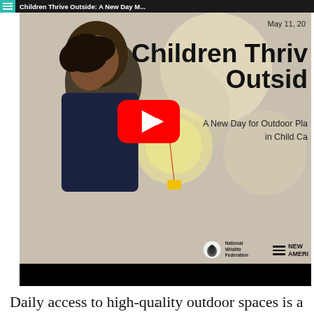Children Thrive Outside: A New Day for Outdoor Play in Child Care
[Figure (screenshot): YouTube video thumbnail showing a child blowing bubbles outdoors. Title reads 'Children Thrive Outside: A New Day for Outdoor Play in Child Care'. Dated May 11, 20xx. Logos for National Wildlife Federation and New America visible. Red YouTube play button overlay in center.]
Daily access to high-quality outdoor spaces is a human right that has compounding benefits. The long-term physical, social-emotional, and